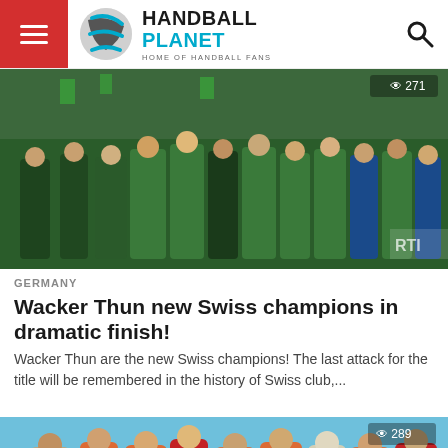HANDBALL PLANET — HOME OF HANDBALL FANS
[Figure (photo): Team photo of Wacker Thun celebrating Swiss championship, players and staff in green jerseys with medals, crowded arena background]
GERMANY
Wacker Thun new Swiss champions in dramatic finish!
Wacker Thun are the new Swiss champions! The last attack for the title will be remembered in the history of Swiss club,...
[Figure (photo): Handball players celebrating in orange uniforms on blue court background]